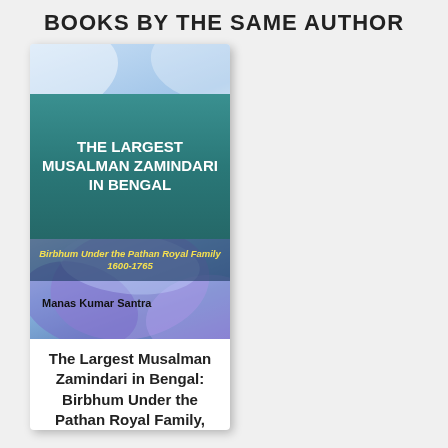BOOKS BY THE SAME AUTHOR
[Figure (illustration): Book cover for 'The Largest Musalman Zamindari in Bengal: Birbhum Under the Pathan Royal Family 1600-1765' by Manas Kumar Santra. Features a teal header band with white bold title, yellow italic subtitle on dark band, and abstract blue/purple/white background. Author name at bottom of cover.]
The Largest Musalman Zamindari in Bengal: Birbhum Under the Pathan Royal Family,